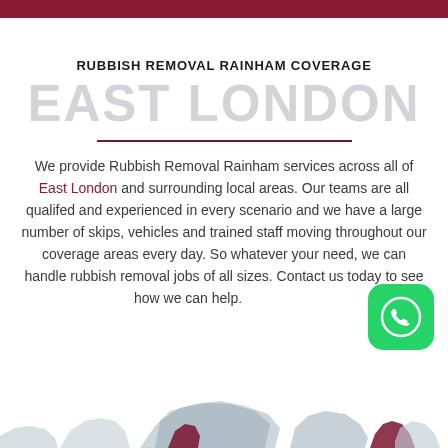RUBBISH REMOVAL RAINHAM COVERAGE
EAST LONDON
We provide Rubbish Removal Rainham services across all of East London and surrounding local areas. Our teams are all qualifed and experienced in every scenario and we have a large number of skips, vehicles and trained staff moving throughout our coverage areas every day. So whatever your need, we can handle rubbish removal jobs of all sizes. Contact us today to see how we can help.
[Figure (map): Partial map of East London area shown at bottom of page, in muted blue-grey tones with some dark red/maroon highlighted regions]